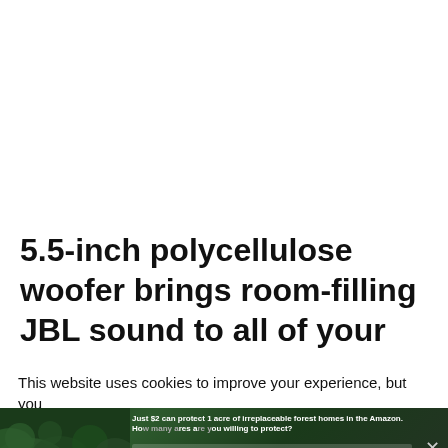[Figure (photo): Large white/empty content area occupying the upper portion of the page]
5.5-inch polycellulose woofer brings room-filling JBL sound to all of your
This website uses cookies to improve your experience, but you
[Figure (infographic): Advertisement banner with forest/Amazon background image. Text reads: 'Just $2 can protect 1 acre of irreplaceable forest homes in the Amazon. How many acres are you willing to protect?' with a 'PROTECT FORESTS NOW' button. Overlaid with 'Share This' text with chevron icon and an X close button.]